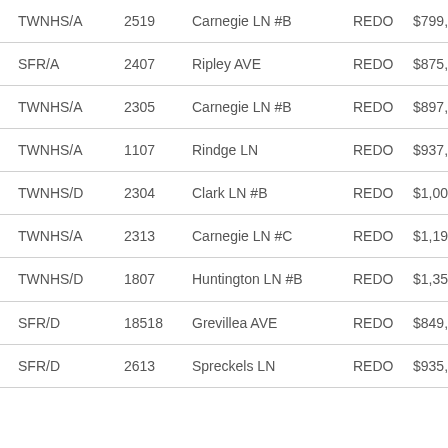| Type | Number | Address | Status | Price |  |
| --- | --- | --- | --- | --- | --- |
| TWNHS/A | 2519 | Carnegie LN #B | REDO | $799,000 | $4… |
| SFR/A | 2407 | Ripley AVE | REDO | $875,000 | $7… |
| TWNHS/A | 2305 | Carnegie LN #B | REDO | $897,000 | $5… |
| TWNHS/A | 1107 | Rindge LN | REDO | $937,000 | $6… |
| TWNHS/D | 2304 | Clark LN #B | REDO | $1,005,000 | $4… |
| TWNHS/A | 2313 | Carnegie LN #C | REDO | $1,195,000 | $5… |
| TWNHS/D | 1807 | Huntington LN #B | REDO | $1,350,000 | $5… |
| SFR/D | 18518 | Grevillea AVE | REDO | $849,000 | $6… |
| SFR/D | 2613 | Spreckels LN | REDO | $935,000 | $6… |